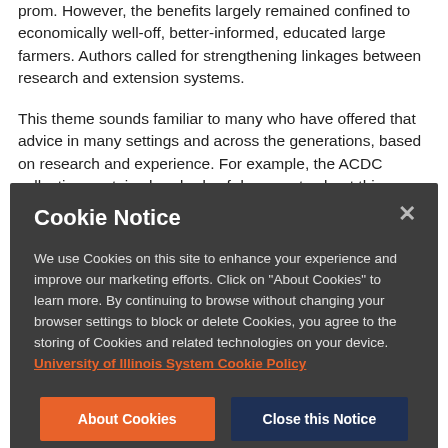prom. However, the benefits largely remained confined to economically well-off, better-informed, educated large farmers. Authors called for strengthening linkages between research and extension systems.
This theme sounds familiar to many who have offered that advice in many settings and across the generations, based on research and experience. For example, the ACDC collection contains hundreds of documents about this
[Figure (screenshot): Cookie Notice modal overlay with dark gray background. Contains title 'Cookie Notice', body text about cookie usage with a link 'University of Illinois System Cookie Policy' in orange, an 'About Cookies' button in orange, and a 'Close this Notice' button in dark navy. An X close button is in the top right corner.]